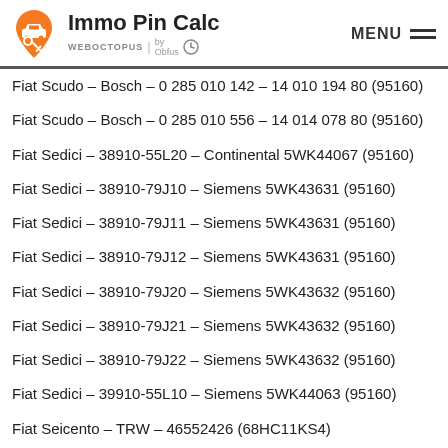Immo Pin Calc — WEBOCTOPUS | by Obfus — MENU
Fiat Scudo – Bosch – 0 285 010 142 – 14 010 194 80 (95160)
Fiat Scudo – Bosch – 0 285 010 556 – 14 014 078 80 (95160)
Fiat Sedici – 38910-55L20 – Continental 5WK44067 (95160)
Fiat Sedici – 38910-79J10 – Siemens 5WK43631 (95160)
Fiat Sedici – 38910-79J11 – Siemens 5WK43631 (95160)
Fiat Sedici – 38910-79J12 – Siemens 5WK43631 (95160)
Fiat Sedici – 38910-79J20 – Siemens 5WK43632 (95160)
Fiat Sedici – 38910-79J21 – Siemens 5WK43632 (95160)
Fiat Sedici – 38910-79J22 – Siemens 5WK43632 (95160)
Fiat Sedici – 39910-55L10 – Siemens 5WK44063 (95160)
Fiat Seicento – TRW – 46552426 (68HC11KS4)